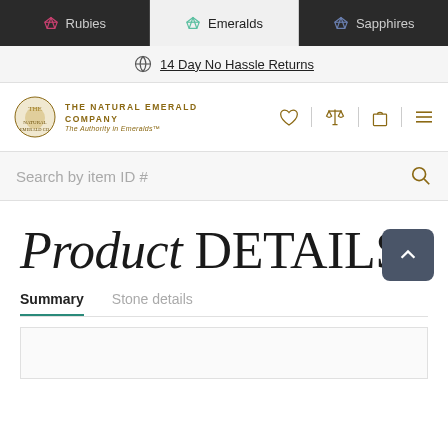Rubies | Emeralds | Sapphires
14 Day No Hassle Returns
[Figure (logo): The Natural Emerald Company crest logo with text 'THE NATURAL EMERALD COMPANY - The Authority in Emeralds™']
Search by item ID #
Product DETAILS
Summary   Stone details